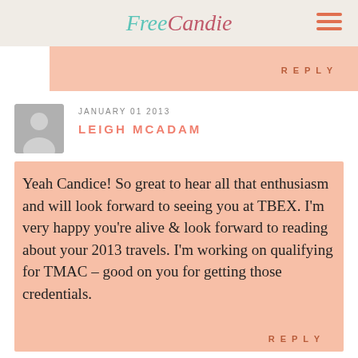FreeCandie
REPLY
JANUARY 01 2013
LEIGH MCADAM
Yeah Candice! So great to hear all that enthusiasm and will look forward to seeing you at TBEX. I'm very happy you're alive & look forward to reading about your 2013 travels. I'm working on qualifying for TMAC – good on you for getting those credentials.
REPLY